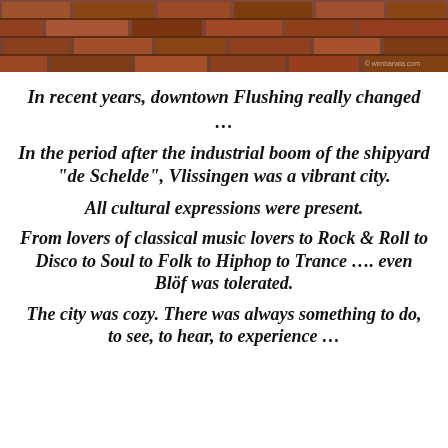[Figure (photo): Brick wall background photo, warm brown/red tones, with watermark text '© wimbarwla.com' in bottom right]
In recent years, downtown Flushing really changed …
In the period after the industrial boom of the shipyard “de Schelde”, Vlissingen was a vibrant city.
All cultural expressions were present.
From lovers of classical music lovers to Rock & Roll to Disco to Soul to Folk to Hiphop to Trance …. even Blöf was tolerated.
The city was cozy. There was always something to do, to see, to hear, to experience …